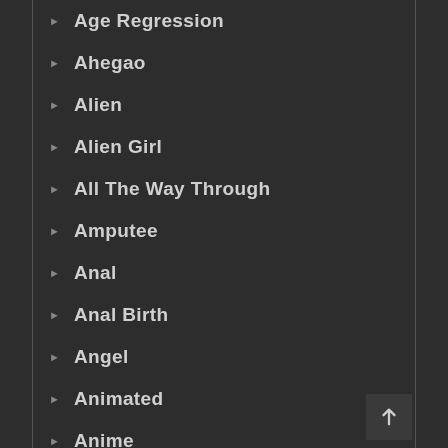Age Regression
Ahegao
Alien
Alien Girl
All The Way Through
Amputee
Anal
Anal Birth
Angel
Animated
Anime
Anthology
Apron